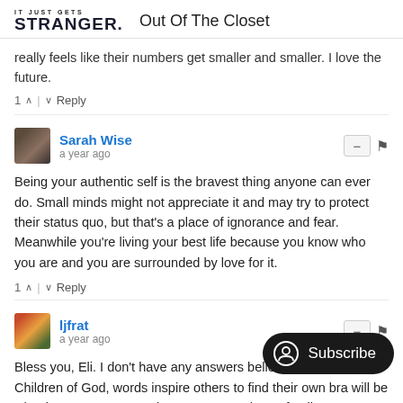IT JUST GETS STRANGER. Out Of The Closet
really feels like their numbers get smaller and smaller. I love the future.
1 ^ | v Reply
Sarah Wise
a year ago
Being your authentic self is the bravest thing anyone can ever do. Small minds might not appreciate it and may try to protect their status quo, but that's a place of ignorance and fear. Meanwhile you're living your best life because you know who you are and you are surrounded by love for it.
1 ^ | v Reply
ljfrat
a year ago
Bless you, Eli. I don't have any answers believe that we're all Children of God, words inspire others to find their own bra will be who they were meant to be. May you and your family